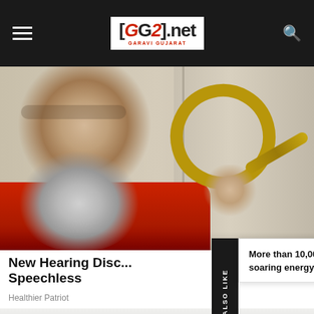GG2.net GARAVI GUJARAT
[Figure (photo): Man with gray beard holding a large brass ear trumpet/horn up to his ear, wearing a red shirt, indoor setting]
New Hearing Disc... Speechless
Healthier Patriot
YOU MAY ALSO LIKE
More than 10,000 will die this winter – soaring energy bills in UK…
[Figure (photo): Close-up of dark green oval tablets/pills]